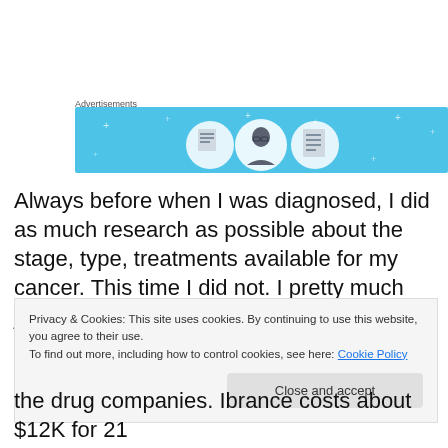Advertisements
[Figure (illustration): Advertisement banner with light blue background showing three circular icons: a document/notebook, a person with glasses, and a list/checklist, with decorative plus signs scattered around on the blue background.]
Always before when I was diagnosed, I did as much research as possible about the stage, type, treatments available for my cancer. This time I did not. I pretty much just followed whatever instructions I was given. My old
Privacy & Cookies: This site uses cookies. By continuing to use this website, you agree to their use.
To find out more, including how to control cookies, see here: Cookie Policy

Close and accept
the drug companies. Ibrance costs about $12K for 21